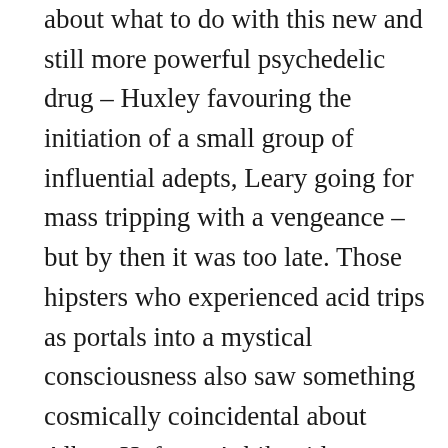about what to do with this new and still more powerful psychedelic drug – Huxley favouring the initiation of a small group of influential adepts, Leary going for mass tripping with a vengeance – but by then it was too late. Those hipsters who experienced acid trips as portals into a mystical consciousness also saw something cosmically coincidental about Albert Hofmann's bike ride. Noting that it took place at around the same time as the Manhattan Project was gearing up to produce the atomic bombs that would be dropped on Hiroshima and Nagasaki, they reasoned that God or gods had given LSD to humankind so that the turned out masses would recoil from the nuclear threat. If you were to fall...